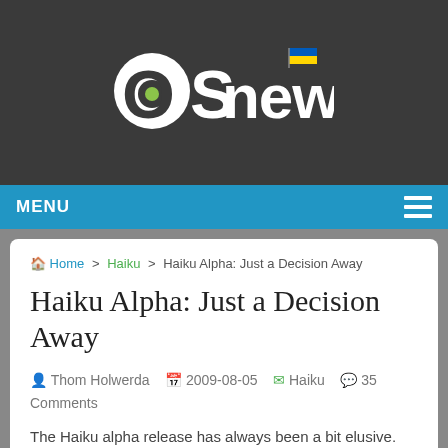[Figure (logo): OSnews logo with white circular OS letters and 'news' text on dark background, with Ukrainian flag emoji]
MENU
Home > Haiku > Haiku Alpha: Just a Decision Away
Haiku Alpha: Just a Decision Away
Thom Holwerda  2009-08-05  Haiku  35 Comments
The Haiku alpha release has always been a bit elusive.